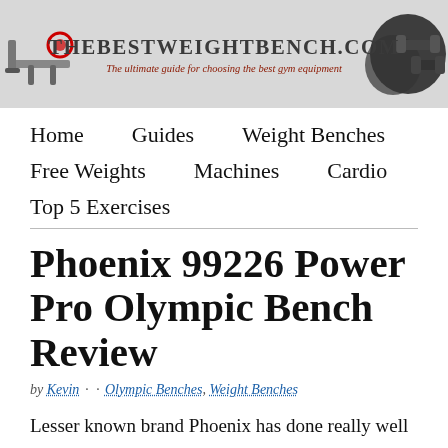[Figure (screenshot): TheBestWeightBench.com website banner with logo text and tagline 'The ultimate guide for choosing the best gym equipment', with gym equipment images on sides]
Home  Guides  Weight Benches  Free Weights  Machines  Cardio  Top 5 Exercises
Phoenix 99226 Power Pro Olympic Bench Review
by Kevin · · Olympic Benches, Weight Benches
Lesser known brand Phoenix has done really well to